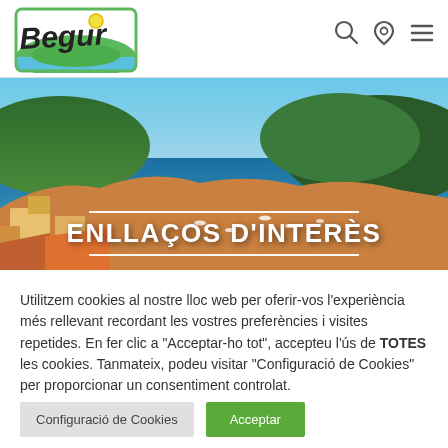[Figure (logo): Begur tourism logo with stylized green landscape and blue water, handwritten 'Begur' text with yellow sun dot]
[Figure (illustration): Navigation icons: magnifying glass (search), location pin, and hamburger menu lines]
[Figure (photo): Aerial/coastal photo of Begur showing blue sea, boats in a cove, wooded hillside, and Mediterranean-style buildings with orange roofs]
ENLLAÇOS D'INTERÈS
Utilitzem cookies al nostre lloc web per oferir-vos l'experiència més rellevant recordant les vostres preferències i visites repetides. En fer clic a "Acceptar-ho tot", accepteu l'ús de TOTES les cookies. Tanmateix, podeu visitar "Configuració de Cookies" per proporcionar un consentiment controlat.
Configuració de Cookies
Acceptar